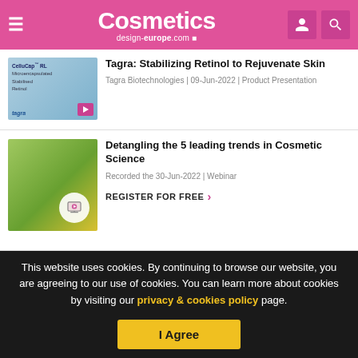Cosmetics design-europe.com
[Figure (screenshot): CelluCap RL product thumbnail with retinol skincare image and video icon]
Tagra: Stabilizing Retinol to Rejuvenate Skin
Tagra Biotechnologies | 09-Jun-2022 | Product Presentation
[Figure (screenshot): Cosmetic science webinar thumbnail with plants and bottles and webinar icon]
Detangling the 5 leading trends in Cosmetic Science
Recorded the 30-Jun-2022 | Webinar
REGISTER FOR FREE >
This website uses cookies. By continuing to browse our website, you are agreeing to our use of cookies. You can learn more about cookies by visiting our privacy & cookies policy page.
I Agree